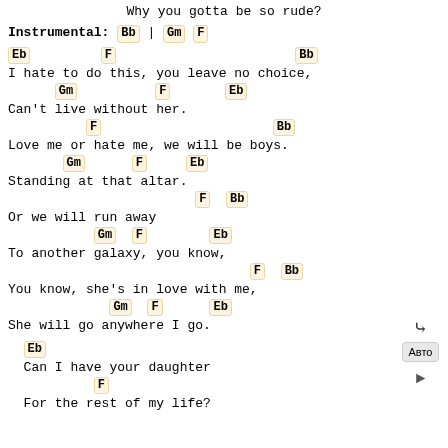Why you gotta be so rude?
Instrumental: Bb | Gm F
[Eb] [F] [Bb]
I hate to do this, you leave no choice,
[Gm] [F] [Eb]
Can't live without her.
[F] [Bb]
Love me or hate me, we will be boys.
[Gm] [F] [Eb]
Standing at that altar.
[F] [Bb]
Or we will run away
[Gm] [F] [Eb]
To another galaxy, you know,
[F] [Bb]
You know, she's in love with me,
[Gm] [F] [Eb]
She will go anywhere I go.
[Eb]
Can I have your daughter
[F]
For the rest of my life?